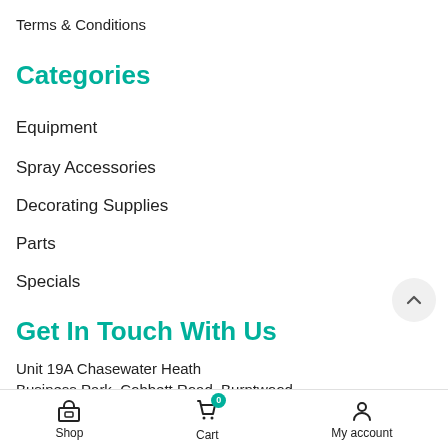Terms & Conditions
Categories
Equipment
Spray Accessories
Decorating Supplies
Parts
Specials
Get In Touch With Us
Unit 19A Chasewater Heath Business Park, Cobbett Road, Burntwood
Shop   Cart   My account